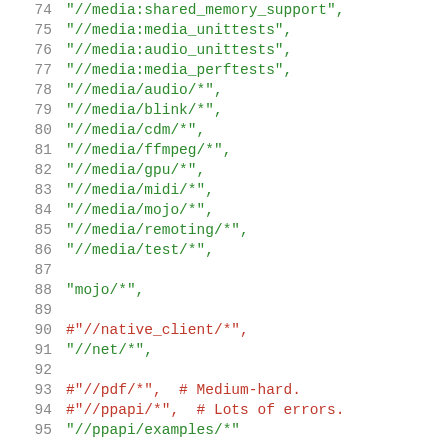74    "//media:shared_memory_support",
75    "//media:media_unittests",
76    "//media:audio_unittests",
77    "//media:media_perftests",
78    "//media/audio/*",
79    "//media/blink/*",
80    "//media/cdm/*",
81    "//media/ffmpeg/*",
82    "//media/gpu/*",
83    "//media/midi/*",
84    "//media/mojo/*",
85    "//media/remoting/*",
86    "//media/test/*",
87
88    "mojo/*",
89
90    #"//native_client/*",
91    "//net/*",
92
93    #"//pdf/*",  # Medium-hard.
94    #"//ppapi/*",  # Lots of errors.
95    "//ppapi/examples/*"